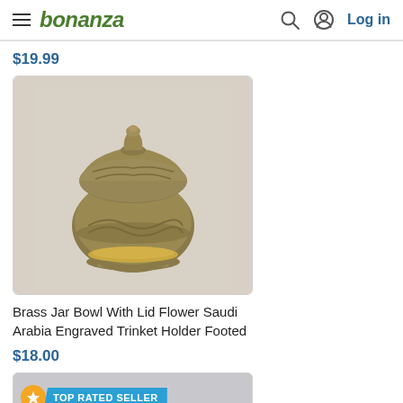bonanza — Log in
$19.99
[Figure (photo): Brass jar bowl with lid, engraved floral pattern, footed base, golden-brown color, photographed on white background]
Brass Jar Bowl With Lid Flower Saudi Arabia Engraved Trinket Holder Footed
$18.00
[Figure (photo): Partial product image with TOP RATED SELLER badge — teal/blue ornamental item on grey background]